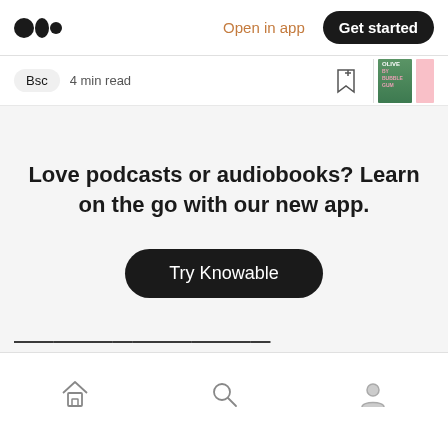Medium logo | Open in app | Get started
Bsc  4 min read
Love podcasts or audiobooks? Learn on the go with our new app.
Try Knowable
Home | Search | Profile